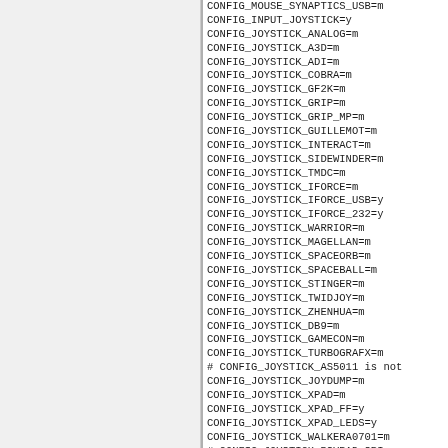CONFIG_MOUSE_SYNAPTICS_USB=m
CONFIG_INPUT_JOYSTICK=y
CONFIG_JOYSTICK_ANALOG=m
CONFIG_JOYSTICK_A3D=m
CONFIG_JOYSTICK_ADI=m
CONFIG_JOYSTICK_COBRA=m
CONFIG_JOYSTICK_GF2K=m
CONFIG_JOYSTICK_GRIP=m
CONFIG_JOYSTICK_GRIP_MP=m
CONFIG_JOYSTICK_GUILLEMOT=m
CONFIG_JOYSTICK_INTERACT=m
CONFIG_JOYSTICK_SIDEWINDER=m
CONFIG_JOYSTICK_TMDC=m
CONFIG_JOYSTICK_IFORCE=m
CONFIG_JOYSTICK_IFORCE_USB=y
CONFIG_JOYSTICK_IFORCE_232=y
CONFIG_JOYSTICK_WARRIOR=m
CONFIG_JOYSTICK_MAGELLAN=m
CONFIG_JOYSTICK_SPACEORB=m
CONFIG_JOYSTICK_SPACEBALL=m
CONFIG_JOYSTICK_STINGER=m
CONFIG_JOYSTICK_TWIDJOY=m
CONFIG_JOYSTICK_ZHENHUA=m
CONFIG_JOYSTICK_DB9=m
CONFIG_JOYSTICK_GAMECON=m
CONFIG_JOYSTICK_TURBOGRAFX=m
# CONFIG_JOYSTICK_AS5011 is not
CONFIG_JOYSTICK_JOYDUMP=m
CONFIG_JOYSTICK_XPAD=m
CONFIG_JOYSTICK_XPAD_FF=y
CONFIG_JOYSTICK_XPAD_LEDS=y
CONFIG_JOYSTICK_WALKERA0701=m
# CONFIG_JOYSTICK_PSYPAD_SRI